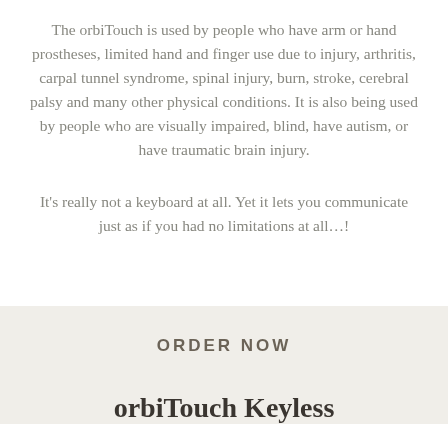The orbiTouch is used by people who have arm or hand prostheses, limited hand and finger use due to injury, arthritis, carpal tunnel syndrome, spinal injury, burn, stroke, cerebral palsy and many other physical conditions. It is also being used by people who are visually impaired, blind, have autism, or have traumatic brain injury.
It's really not a keyboard at all. Yet it lets you communicate just as if you had no limitations at all…!
ORDER NOW
orbiTouch Keyless